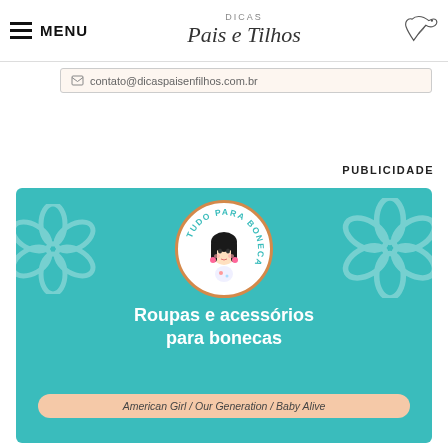MENU | DICAS Pais e Filhos
contato@dicaspaisenfilhos.com.br
PUBLICIDADE
[Figure (illustration): Advertisement banner for 'Tudo Para Boneca' – teal background with floral decorations, circular logo with a cartoon doll illustration, text 'Roupas e acessórios para bonecas' and tag 'American Girl / Our Generation / Baby Alive']